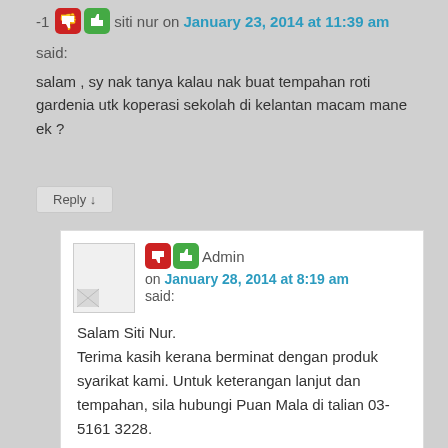-1 siti nur on January 23, 2014 at 11:39 am
said:
salam , sy nak tanya kalau nak buat tempahan roti gardenia utk koperasi sekolah di kelantan macam mane ek ?
Reply ↓
Admin on January 28, 2014 at 8:19 am said:
Salam Siti Nur.
Terima kasih kerana berminat dengan produk syarikat kami. Untuk keterangan lanjut dan tempahan, sila hubungi Puan Mala di talian 03-5161 3228.
Reply ↓